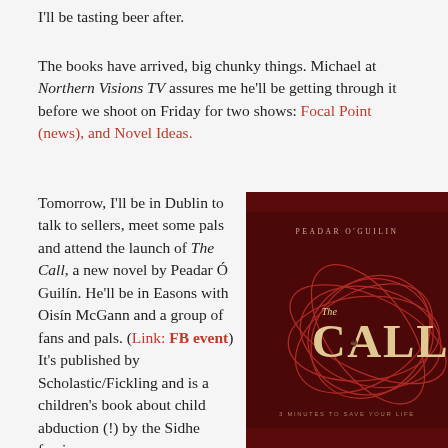I'll be tasting beer after.
The books have arrived, big chunky things. Michael at Northern Visions TV assures me he'll be getting through it before we shoot on Friday for two shows: Focal Point (news), and Novel Ideas.
Tomorrow, I'll be in Dublin to talk to sellers, meet some pals and attend the launch of The Call, a new novel by Peadar Ó Guilín. He'll be in Easons with Oisín McGann and a group of fans and pals. (Link: FB event) It's published by Scholastic/Fickling and is a children's book about child abduction (!) by the Sidhe faeries
[Figure (photo): Book cover of 'The Call' by Peadar O'Guilin. Dark red background with circular swirling lines. Title 'The Call' in stylized text. Subtitle: '3 MINUTES TO SAVE YOUR LIFE'.]